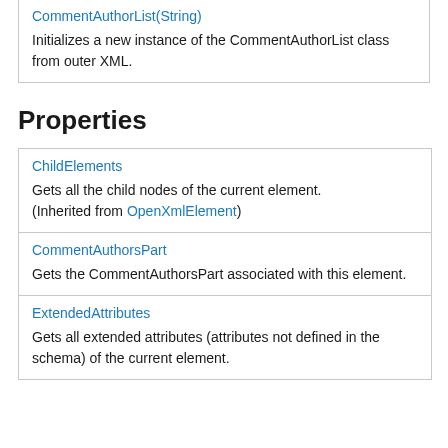| CommentAuthorList(String) | Initializes a new instance of the CommentAuthorList class from outer XML. |
Properties
| ChildElements | Gets all the child nodes of the current element.
(Inherited from OpenXmlElement) |
| CommentAuthorsPart | Gets the CommentAuthorsPart associated with this element. |
| ExtendedAttributes | Gets all extended attributes (attributes not defined in the schema) of the current element. |